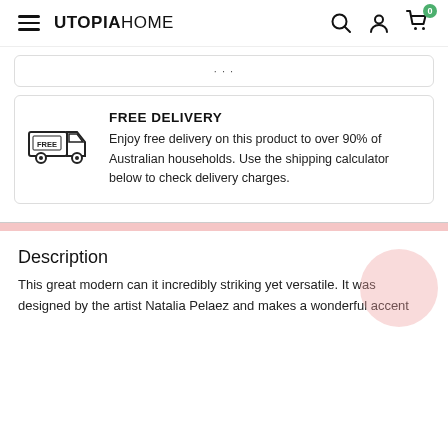UTOPIAHOME
[Figure (infographic): Free delivery icon: a delivery truck with FREE label]
FREE DELIVERY
Enjoy free delivery on this product to over 90% of Australian households. Use the shipping calculator below to check delivery charges.
Description
This great modern can it incredibly striking yet versatile. It was designed by the artist Natalia Pelaez and makes a wonderful accent